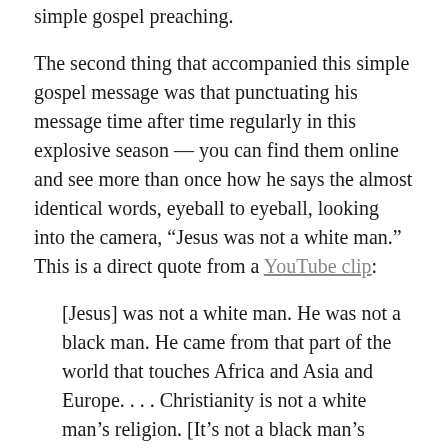simple gospel preaching.
The second thing that accompanied this simple gospel message was that punctuating his message time after time regularly in this explosive season — you can find them online and see more than once how he says the almost identical words, eyeball to eyeball, looking into the camera, “Jesus was not a white man.” This is a direct quote from a YouTube clip:
[Jesus] was not a white man. He was not a black man. He came from that part of the world that touches Africa and Asia and Europe. . . . Christianity is not a white man’s religion. [It’s not a black man’s religion.] And don’t let